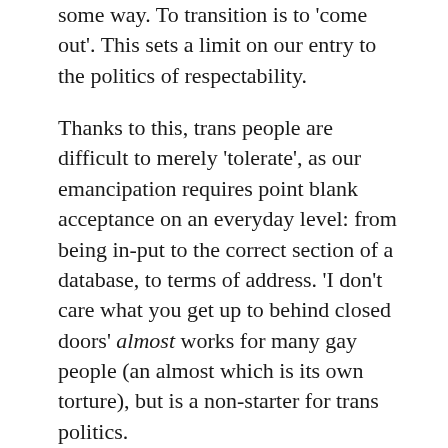some way. To transition is to 'come out'. This sets a limit on our entry to the politics of respectability.
Thanks to this, trans people are difficult to merely 'tolerate', as our emancipation requires point blank acceptance on an everyday level: from being in-put to the correct section of a database, to terms of address. 'I don't care what you get up to behind closed doors' almost works for many gay people (an almost which is its own torture), but is a non-starter for trans politics.
While adopting normative nuclear family models and taking up inclusion discourse may work for a demographically predictable minority of cis queers, even those transgender